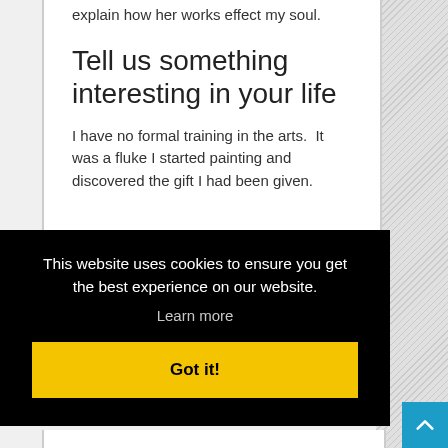explain how her works effect my soul.
Tell us something interesting in your life
I have no formal training in the arts.  It was a fluke I started painting and discovered the gift I had been given.
This website uses cookies to ensure you get the best experience on our website.
Learn more
Got it!